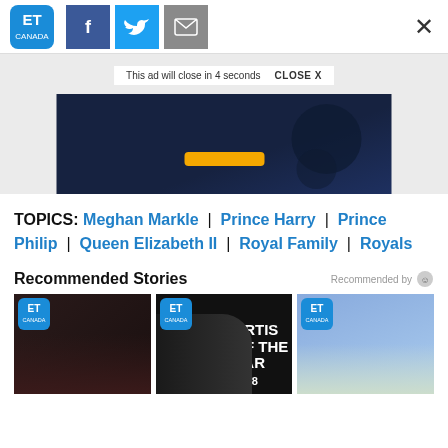ET Canada | Share icons (Facebook, Twitter, Email) | Close (X)
[Figure (screenshot): Ad banner area with countdown overlay reading 'This ad will close in 4 seconds  CLOSE X' and a dark navy advertisement image below]
TOPICS: Meghan Markle | Prince Harry | Prince Philip | Queen Elizabeth II | Royal Family | Royals
Recommended Stories
[Figure (photo): Three thumbnail images for recommended stories, each with ET Canada logo overlay]